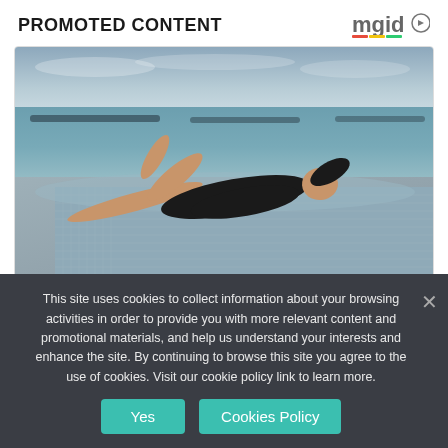PROMOTED CONTENT
[Figure (logo): MGID logo with play button icon]
[Figure (photo): Woman in black swimsuit reclining on the edge of an infinity pool overlooking the ocean at sunset]
Not Having Time For These Things Can
This site uses cookies to collect information about your browsing activities in order to provide you with more relevant content and promotional materials, and help us understand your interests and enhance the site. By continuing to browse this site you agree to the use of cookies. Visit our cookie policy link to learn more.
Yes
Cookies Policy